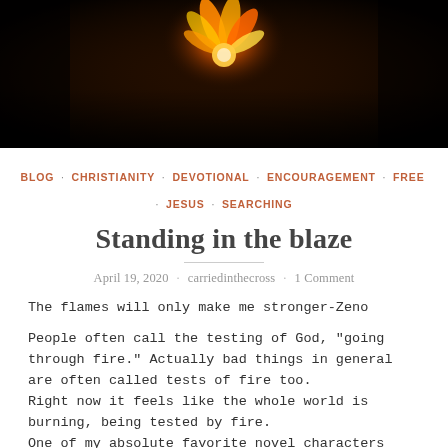[Figure (photo): Dark background with glowing orange flame or flower-like figure against a dark brown/black backdrop]
BLOG · CHRISTIANITY · DEVOTIONAL · ENCOURAGEMENT · FREE · JESUS · SEARCHING
Standing in the blaze
April 19, 2020 · carriedinthecross · 1 Comment
The flames will only make me stronger-Zeno
People often call the testing of God, "going through fire." Actually bad things in general are often called tests of fire too.
Right now it feels like the whole world is burning, being tested by fire.
One of my absolute favorite novel characters ends up in a